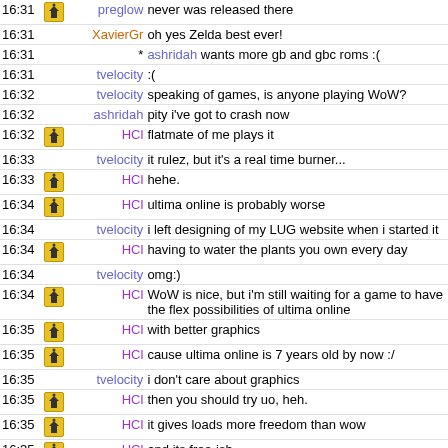| time | icon | nick | message |
| --- | --- | --- | --- |
| 16:31 | icon | preglow | never was released there |
| 16:31 |  | XavierGr | oh yes Zelda best ever! |
| 16:31 |  | * ashridah | wants more gb and gbc roms :( |
| 16:31 |  | tvelocity | :( |
| 16:32 |  | tvelocity | speaking of games, is anyone playing WoW? |
| 16:32 |  | ashridah | pity i've got to crash now |
| 16:32 | icon | HCl | flatmate of me plays it |
| 16:33 |  | tvelocity | it rulez, but it's a real time burner... |
| 16:33 | icon | HCl | hehe. |
| 16:34 | icon | HCl | ultima online is probably worse |
| 16:34 |  | tvelocity | i left designing of my LUG website when i started it |
| 16:34 | icon | HCl | having to water the plants you own every day |
| 16:34 |  | tvelocity | omg:) |
| 16:34 | icon | HCl | WoW is nice, but i'm still waiting for a game to have the flex possibilities of ultima online |
| 16:35 | icon | HCl | with better graphics |
| 16:35 | icon | HCl | cause ultima online is 7 years old by now :/ |
| 16:35 |  | tvelocity | i don't care about graphics |
| 16:35 | icon | HCl | then you should try uo, heh. |
| 16:35 | icon | HCl | it gives loads more freedom than wow |
| 16:35 | icon | HCl | and its free-ish |
| 16:35 |  | tvelocity | really?i thought it doesdnt exist a |
| 16:35 |  | tvelocity | anymore |
| 16:35 | icon | HCl | it does. |